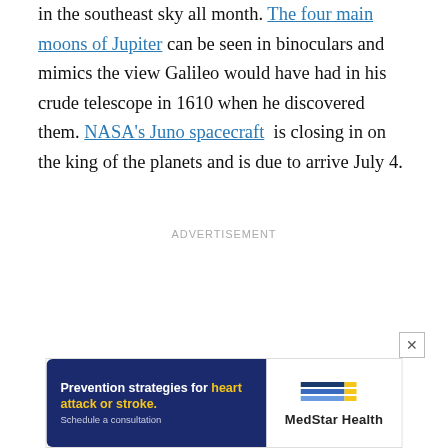in the southeast sky all month. The four main moons of Jupiter can be seen in binoculars and mimics the view Galileo would have had in his crude telescope in 1610 when he discovered them. NASA's Juno spacecraft is closing in on the king of the planets and is due to arrive July 4.
ADVERTISEMENT
[Figure (other): MedStar Health advertisement banner: left side dark blue with text 'Prevention strategies for heart attack or stroke. Schedule a consultation' in white and yellow; right side white with MedStar Health logo and name.]